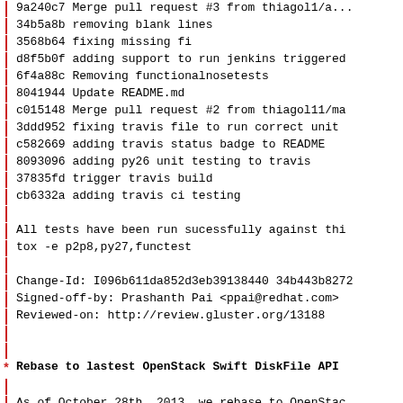9a240c7 Merge pull request #3 from thiagol1/a...
34b5a8b removing blank lines
3568b64 fixing missing fi
d8f5b0f adding support to run jenkins triggered
6f4a88c Removing functionalnosetests
8041944 Update README.md
c015148 Merge pull request #2 from thiagol11/ma
3ddd952 fixing travis file to run correct unit
c582669 adding travis status badge to README
8093096 adding py26 unit testing to travis
37835fd trigger travis build
cb6332a adding travis ci testing
All tests have been run sucessfully against thi
tox -e p2p8,py27,functest
Change-Id: I096b611da852d3eb39138440 34b443b8272
Signed-off-by: Prashanth Pai <ppai@redhat.com>
Reviewed-on: http://review.gluster.org/13188
* Rebase to lastest OpenStack Swift DiskFile API
As of October 28th, 2013, we rebase to OpenStac
4bfe674) to pick up the lastest officially supp
changes. We use a snapshot of OpenStack Swift s
gluster-swift launchpad downloads area so that
rebase at our own pace.
With this refactoring, all the code for handlin